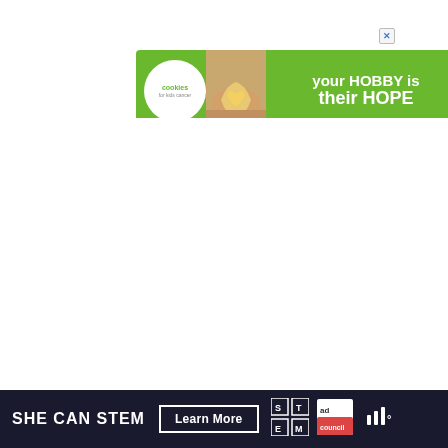[Figure (screenshot): Advertisement banner for 'cookies for kids cancer' with green background, logo circle on left, hands holding heart-shaped cookie photo, and text 'your HOBBY is their HOPE' in white bold font. Close button top right.]
[Figure (screenshot): White content area (article body, mostly blank)]
[Figure (infographic): Teal circular like/heart button with heart icon, showing count 1.4K below, and white circular share button below that]
[Figure (screenshot): What's Next card with thumbnail of bird/nature photo and text 'WHAT'S NEXT → 7 Fun Summer Activities for...']
[Figure (infographic): Bottom dark navy advertisement bar with text 'SHE CAN STEM', 'Learn More' button, STEM grid logo, Ad Council logo, and streaming platform logo]